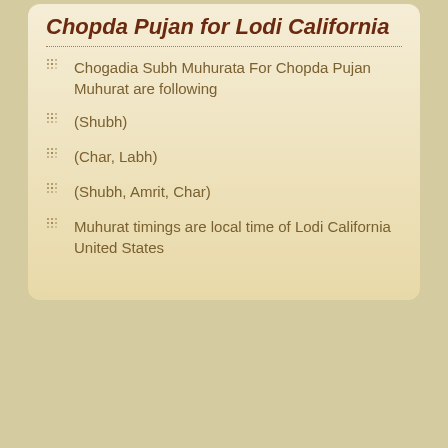Chopda Pujan for Lodi California
Chogadia Subh Muhurata For Chopda Pujan Muhurat are following
(Shubh)
(Char, Labh)
(Shubh, Amrit, Char)
Muhurat timings are local time of Lodi California United States